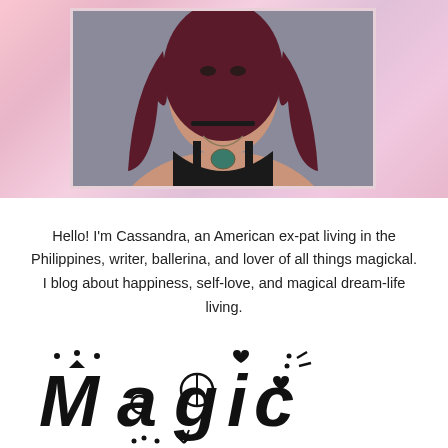[Figure (photo): Profile photo of Cassandra, a woman with long dark reddish hair, wearing a black tank top and a statement necklace with a teal stone, set against a sparkly pink/iridescent background]
Hello! I'm Cassandra, an American ex-pat living in the Philippines, writer, ballerina, and lover of all things magickal. I blog about happiness, self-love, and magical dream-life living.
[Figure (illustration): Decorative hand-lettered word 'Magic' in a whimsical, doodle-style black font with small decorative elements like stars, hearts, dots, a peace sign, and arrows]